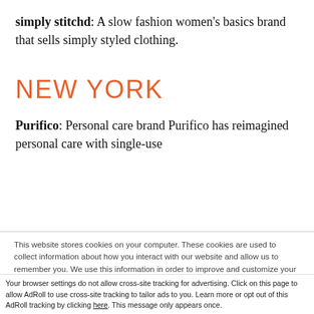simply stitchd: A slow fashion women's basics brand that sells simply styled clothing.
NEW YORK
Purifico: Personal care brand Purifico has reimagined personal care with single-use
This website stores cookies on your computer. These cookies are used to collect information about how you interact with our website and allow us to remember you. We use this information in order to improve and customize your browsing experience and for analytics and metrics about our visitors both on this website and other media. To find out more about the cookies we use, see our Privacy Policy
Accept and Close ×
Your browser settings do not allow cross-site tracking for advertising. Click on this page to allow AdRoll to use cross-site tracking to tailor ads to you. Learn more or opt out of this AdRoll tracking by clicking here. This message only appears once.